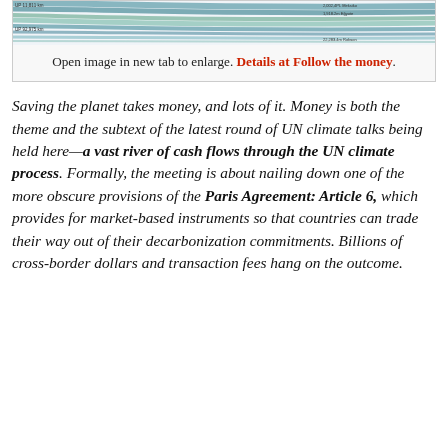[Figure (other): Partial Sankey/flow diagram strip showing colored flow lines with small labels on left and right sides, partially visible at top of page.]
Open image in new tab to enlarge. Details at Follow the money.
Saving the planet takes money, and lots of it. Money is both the theme and the subtext of the latest round of UN climate talks being held here—a vast river of cash flows through the UN climate process. Formally, the meeting is about nailing down one of the more obscure provisions of the Paris Agreement: Article 6, which provides for market-based instruments so that countries can trade their way out of their decarbonization commitments. Billions of cross-border dollars and transaction fees hang on the outcome.